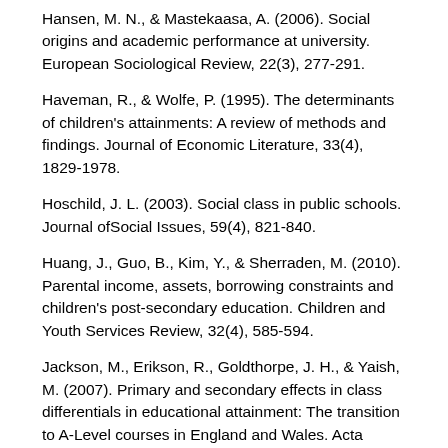Hansen, M. N., & Mastekaasa, A. (2006). Social origins and academic performance at university. European Sociological Review, 22(3), 277-291.
Haveman, R., & Wolfe, P. (1995). The determinants of children's attainments: A review of methods and findings. Journal of Economic Literature, 33(4), 1829-1978.
Hoschild, J. L. (2003). Social class in public schools. Journal ofSocial Issues, 59(4), 821-840.
Huang, J., Guo, B., Kim, Y., & Sherraden, M. (2010). Parental income, assets, borrowing constraints and children's post-secondary education. Children and Youth Services Review, 32(4), 585-594.
Jackson, M., Erikson, R., Goldthorpe, J. H., & Yaish, M. (2007). Primary and secondary effects in class differentials in educational attainment: The transition to A-Level courses in England and Wales. Acta Sociologica, 50(3), 211-229.
.toger, M. M., & Holm, A. (2007). Does parents'